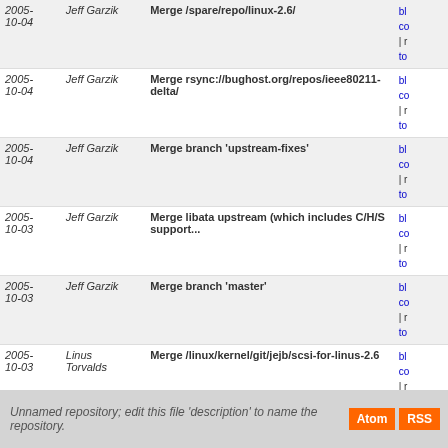| Date | Author | Commit Message | Links |
| --- | --- | --- | --- |
| 2005-10-04 | Jeff Garzik | Merge /spare/repo/linux-2.6/ | bl co | r to |
| 2005-10-04 | Jeff Garzik | Merge rsync://bughost.org/repos/ieee80211-delta/ | bl co | r to |
| 2005-10-04 | Jeff Garzik | Merge branch 'upstream-fixes' | bl co | r to |
| 2005-10-03 | Jeff Garzik | Merge libata upstream (which includes C/H/S support... | bl co | r to |
| 2005-10-03 | Jeff Garzik | Merge branch 'master' | bl co | r to |
| 2005-10-03 | Linus Torvalds | Merge /linux/kernel/git/jejb/scsi-for-linus-2.6 | bl co | r to |
| 2005-09-30 | Linus Torvalds | Merge /pub/scm/linux/kernel/git/davem/sparc-2.6 | bl co | r to |
| 2005-09-29 | David S. Miller | [SPARC64]: Convert to use generic exception table support. | bl co | r to |
| 2005-04-16 | Linus Torvalds | Linux-2.6.12-rc2 | bl co | r to |
Unnamed repository; edit this file 'description' to name the repository.